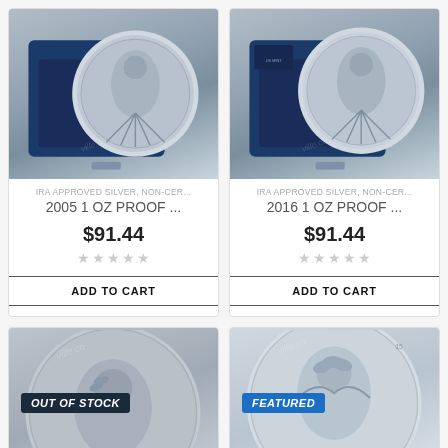[Figure (photo): Silver proof coin in blue display box - 2005 American Eagle]
IRA APPROVED SILVER, NON-CER...
2005 1 OZ PROOF ...
$91.44
ADD TO CART
[Figure (photo): Silver proof coin in blue display box - 2016 American Eagle]
IRA APPROVED SILVER, NON-CER...
2016 1 OZ PROOF ...
$91.44
ADD TO CART
[Figure (photo): Silver coin with OUT OF STOCK badge - large portrait coin]
[Figure (photo): Silver coin with FEATURED badge - liberty themed coin]